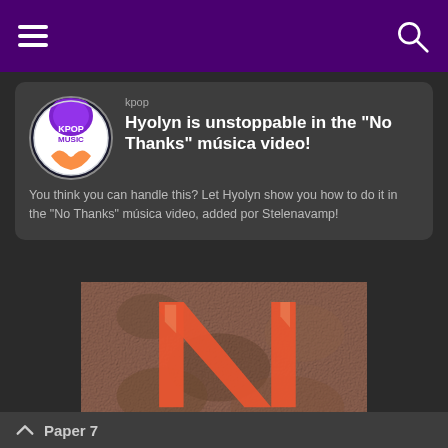kpop
Hyolyn is unstoppable in the "No Thanks" música video!
You think you can handle this? Let Hyolyn show you how to do it in the "No Thanks" música video, added por Stelenavamp!
[Figure (photo): Orange letter N on a brown textured rocky background]
Paper 7